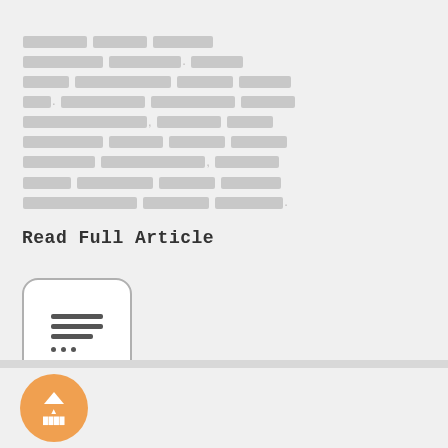[redacted paragraph text]
Read Full Article
[Figure (illustration): A rounded square icon box with horizontal lines and dots representing a text/article icon]
[Figure (illustration): An orange circular button with an upward chevron arrow and small label text at the bottom]